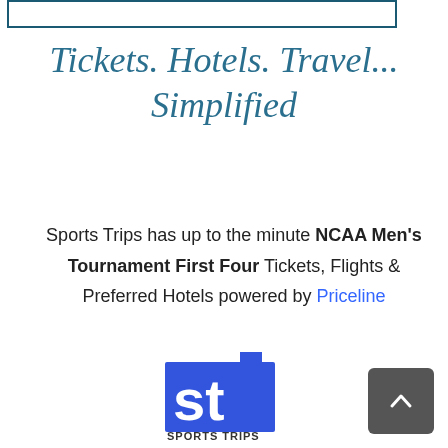[Figure (other): Partial border box at top of page (teal/dark blue rectangle border)]
Tickets. Hotels. Travel... Simplified
Sports Trips has up to the minute NCAA Men's Tournament First Four Tickets, Flights & Preferred Hotels powered by Priceline
[Figure (logo): Sports Trips logo — blue square with white 'st' letters and 'SPORTS TRIPS' text below]
[Figure (other): Gray scroll-to-top button with upward chevron arrow]